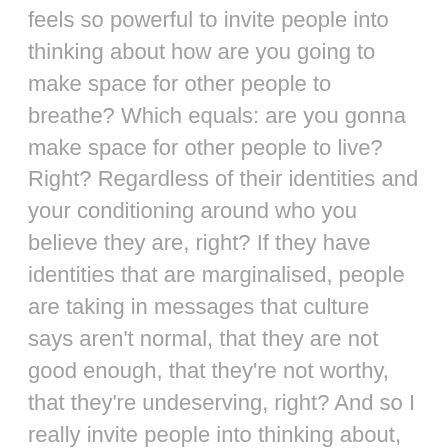feels so powerful to invite people into thinking about how are you going to make space for other people to breathe? Which equals: are you gonna make space for other people to live? Right? Regardless of their identities and your conditioning around who you believe they are, right? If they have identities that are marginalised, people are taking in messages that culture says aren't normal, that they are not good enough, that they're not worthy, that they're undeserving, right? And so I really invite people into thinking about, 'okay you have this space to breathe right now, in this moment, and what are you going to do to make space for others to breathe?' So that's a little bit, or a lot, about the breath.